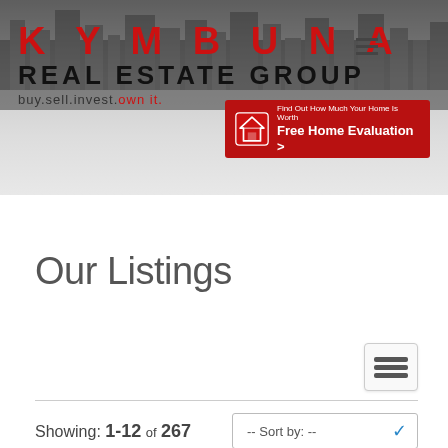[Figure (screenshot): Kymbuna Real Estate Group website header with city skyline background, logo, hamburger menu, and Free Home Evaluation button]
Our Listings
Showing: 1-12 of 267
-- Sort by: --